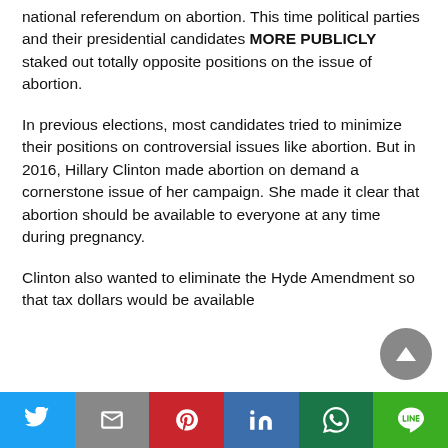national referendum on abortion. This time political parties and their presidential candidates MORE PUBLICLY staked out totally opposite positions on the issue of abortion.
In previous elections, most candidates tried to minimize their positions on controversial issues like abortion. But in 2016, Hillary Clinton made abortion on demand a cornerstone issue of her campaign. She made it clear that abortion should be available to everyone at any time during pregnancy.
Clinton also wanted to eliminate the Hyde Amendment so that tax dollars would be available
Twitter | Gmail | Pinterest | LinkedIn | WhatsApp | Line